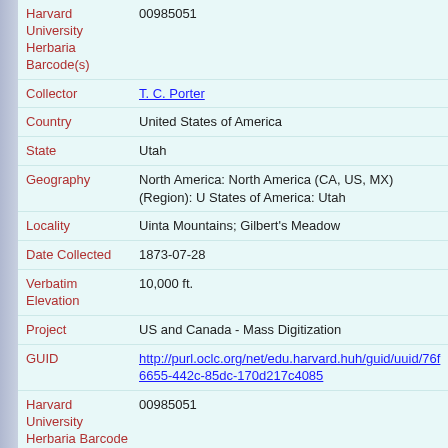| Field | Value |
| --- | --- |
| Harvard University Herbaria Barcode(s) | 00985051 |
| Collector | T. C. Porter |
| Country | United States of America |
| State | Utah |
| Geography | North America: North America (CA, US, MX) (Region): United States of America: Utah |
| Locality | Uinta Mountains; Gilbert's Meadow |
| Date Collected | 1873-07-28 |
| Verbatim Elevation | 10,000 ft. |
| Project | US and Canada - Mass Digitization |
| GUID | http://purl.oclc.org/net/edu.harvard.huh/guid/uuid/76f...-6655-442c-85dc-170d217c4085 |
| Harvard University Herbaria Barcode | 00985051 |
| Herbarium | GH |
| Family | Polemoniaceae |